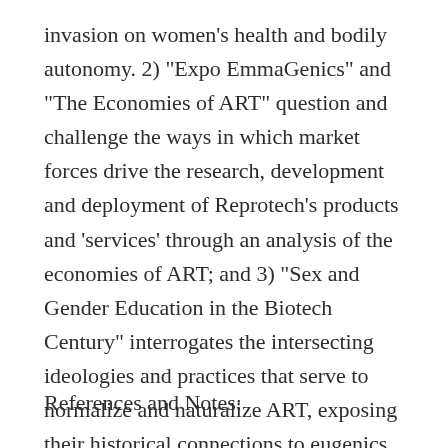invasion on women's health and bodily autonomy. 2) "Expo EmmaGenics" and "The Economies of ART" question and challenge the ways in which market forces drive the research, development and deployment of Reprotech's products and 'services' through an analysis of the economies of ART; and 3) "Sex and Gender Education in the Biotech Century" interrogates the intersecting ideologies and practices that serve to normalize and naturalize ART, exposing their historical connections to eugenics and colonial ideologies.
References and Notes: